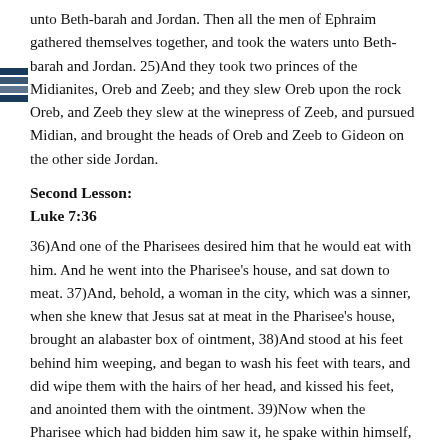unto Beth-barah and Jordan. Then all the men of Ephraim gathered themselves together, and took the waters unto Beth-barah and Jordan. 25)And they took two princes of the Midianites, Oreb and Zeeb; and they slew Oreb upon the rock Oreb, and Zeeb they slew at the winepress of Zeeb, and pursued Midian, and brought the heads of Oreb and Zeeb to Gideon on the other side Jordan.
Second Lesson:
Luke 7:36
36)And one of the Pharisees desired him that he would eat with him. And he went into the Pharisee's house, and sat down to meat. 37)And, behold, a woman in the city, which was a sinner, when she knew that Jesus sat at meat in the Pharisee's house, brought an alabaster box of ointment, 38)And stood at his feet behind him weeping, and began to wash his feet with tears, and did wipe them with the hairs of her head, and kissed his feet, and anointed them with the ointment. 39)Now when the Pharisee which had bidden him saw it, he spake within himself, saying, This man, if he were a prophet, would have known who and what manner of woman this is that toucheth him: for she is a sinner. 40)And Jesus